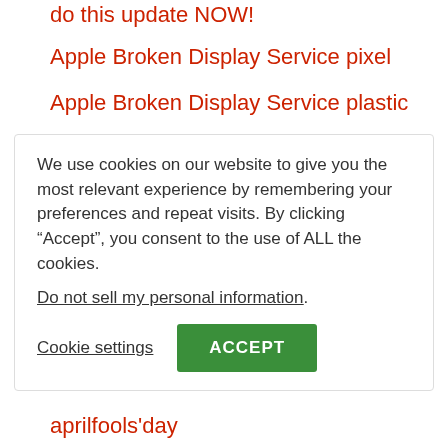do this update NOW!
Apple Broken Display Service pixel
Apple Broken Display Service plastic
We use cookies on our website to give you the most relevant experience by remembering your preferences and repeat visits. By clicking “Accept”, you consent to the use of ALL the cookies.
Do not sell my personal information.
Cookie settings  ACCEPT
aprilfools'day
ascii
Automation